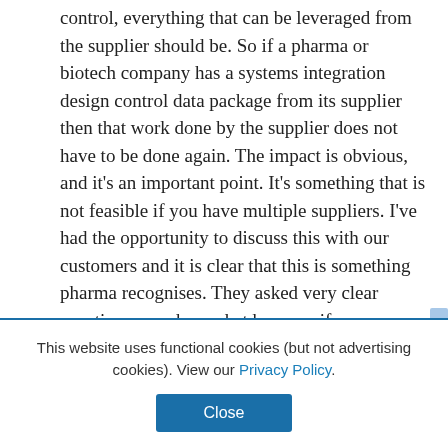control, everything that can be leveraged from the supplier should be. So if a pharma or biotech company has a systems integration design control data package from its supplier then that work done by the supplier does not have to be done again. The impact is obvious, and it's an important point. It's something that is not feasible if you have multiple suppliers. I've had the opportunity to discuss this with our customers and it is clear that this is something pharma recognises. They asked very clear questions – such as what happens if we source a rubber stopper from a different supplier. BD clearly can't supply the systems integration data
This website uses functional cookies (but not advertising cookies). View our Privacy Policy.
Close